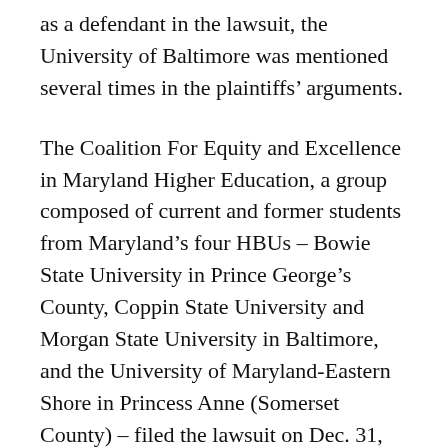as a defendant in the lawsuit, the University of Baltimore was mentioned several times in the plaintiffs' arguments.
The Coalition For Equity and Excellence in Maryland Higher Education, a group composed of current and former students from Maryland's four HBUs – Bowie State University in Prince George's County, Coppin State University and Morgan State University in Baltimore, and the University of Maryland-Eastern Shore in Princess Anne (Somerset County) – filed the lawsuit on Dec. 31, 2007 in the U.S. District Court for Maryland. Joining the coalition as plaintiffs in the suit was a group of nine students from Morgan State and UMES. The Maryland Higher Education